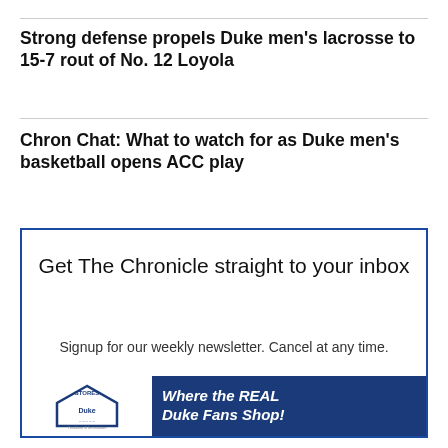Strong defense propels Duke men's lacrosse to 15-7 rout of No. 12 Loyola
Chron Chat: What to watch for as Duke men's basketball opens ACC play
Get The Chronicle straight to your inbox
Signup for our weekly newsletter. Cancel at any time.
Your email address
Subscribe
[Figure (infographic): Duke Stores advertisement banner: logo on left with white background showing Duke Stores branding, right side dark blue with italic bold text 'Where the REAL Duke Fans Shop!']